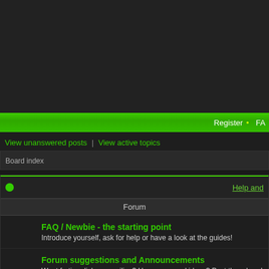[Figure (screenshot): Dark top banner area of a forum website]
Register • FA
View unanswered posts | View active topics
Board index
Help and
Forum
FAQ / Newbie - the starting point
Introduce yourself, ask for help or have a look at the guides!
Forum suggestions and Announcements
Want farting dicks as smilies? Have any good ideas? Post them here!
So Bad It
Forum